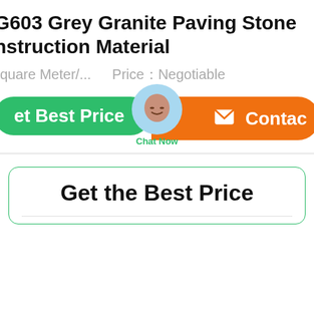G603 Grey Granite Paving Stone Construction Material
Square Meter/...   Price：Negotiable
[Figure (screenshot): Green 'Get Best Price' button, a blue chat bubble avatar with 'Chat Now' label, and orange 'Contact' button with envelope icon]
Get the Best Price